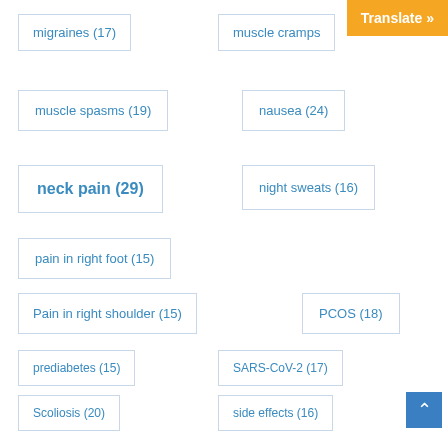migraines (17)
muscle cramps
muscle spasms (19)
nausea (24)
neck pain (29)
night sweats (16)
pain in right foot (15)
Pain in right shoulder (15)
PCOS (18)
prediabetes (15)
SARS-CoV-2 (17)
Scoliosis (20)
side effects (16)
sore throats (15)
stomach issues (15)